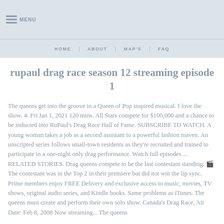MENU
HOME   ABOUT   MAP'S   FAQ
rupaul drag race season 12 streaming episode 1
The queens get into the groove in a Queen of Pop inspired musical. I love the show. 4. Fri Jan 1, 2021 120 mins. All Stars compete for $100,000 and a chance to be inducted into RuPaul's Drag Race Hall of Fame. SUBSCRIBE TO WATCH. A young woman takes a job as a second assistant to a powerful fashion maven. An unscripted series follows small-town residents as they're recruited and trained to participate in a one-night only drag performance. Watch full episodes ... RELATED STORIES. Drag queens compete to be the last contestant standing. 🎬The contestant was in the Top 2 in their premiere but did not win the lip sync. Prime members enjoy FREE Delivery and exclusive access to music, movies, TV shows, original audio series, and Kindle books. Same problems as iTunes. The queens must create and perform their own solo show. Canada's Drag Race, Air Date: Feb 8, 2008 Now streaming... The queens